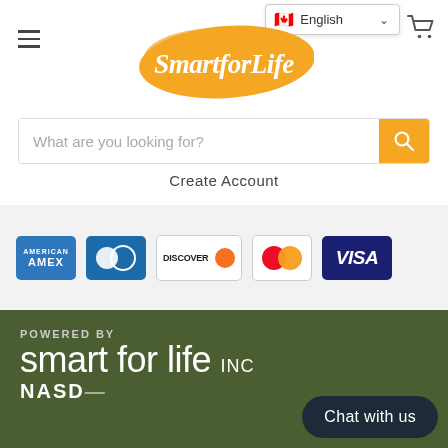[Figure (screenshot): Hamburger menu icon (three horizontal lines) on top left of navigation header]
[Figure (screenshot): Language selector dropdown showing Canadian flag and 'English' with chevron]
[Figure (logo): SmartforLife logo with orange brush-stroke background and white cursive text]
[Figure (screenshot): Shopping cart icon on top right]
[Figure (screenshot): Search bar with placeholder text 'What are you looking for?' and orange search button]
Create Account
[Figure (screenshot): Payment method icons: AMEX, Diners Club, Discover, Mastercard, Visa]
[Figure (logo): POWERED BY smart for life INC NASDAQ footer branding on dark green background]
Chat with us